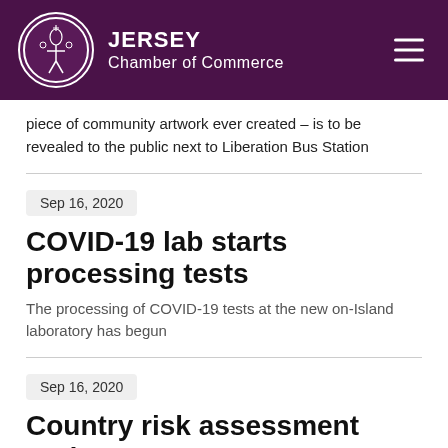[Figure (logo): Jersey Chamber of Commerce header logo with purple background, circular emblem, and hamburger menu icon]
piece of community artwork ever created – is to be revealed to the public next to Liberation Bus Station
Sep 16, 2020
COVID-19 lab starts processing tests
The processing of COVID-19 tests at the new on-Island laboratory has begun
Sep 16, 2020
Country risk assessment updates
The Government of Jersey has made additional changes to